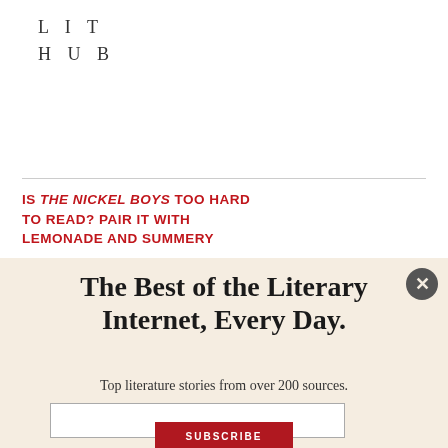[Figure (logo): Lit Hub logo — two lines of spaced-out serif capitals: LIT / HUB]
IS THE NICKEL BOYS TOO HARD TO READ? PAIR IT WITH LEMONADE AND SUMMERY
The Best of the Literary Internet, Every Day.
Top literature stories from over 200 sources.